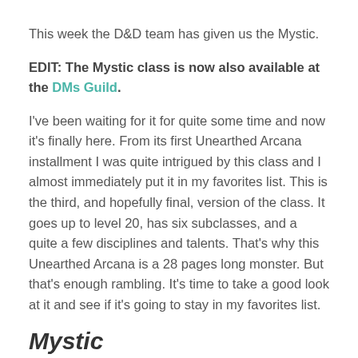This week the D&D team has given us the Mystic.
EDIT: The Mystic class is now also available at the DMs Guild.
I've been waiting for it for quite some time and now it's finally here. From its first Unearthed Arcana installment I was quite intrigued by this class and I almost immediately put it in my favorites list. This is the third, and hopefully final, version of the class. It goes up to level 20, has six subclasses, and a quite a few disciplines and talents. That's why this Unearthed Arcana is a 28 pages long monster. But that's enough rambling. It's time to take a good look at it and see if it's going to stay in my favorites list.
Mystic